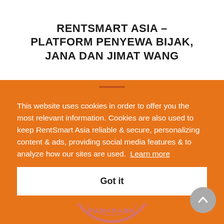RENTSMART ASIA – PLATFORM PENYEWA BIJAK, JANA DAN JIMAT WANG
[Figure (logo): RamaRama circular logo watermark in purple/pink outline with text RAMARAMA at bottom]
RentSmart Asia is Malaysia's first technology platform that connects people with excess inventory to those who need it safely
This website uses cookies in order to offer you the most relevant information. Cookies are also used to keep RentSmart Asia reliable & secure, personalizing content & ads, providing social media features & to analyze how our sites are used. Learn more
Got it